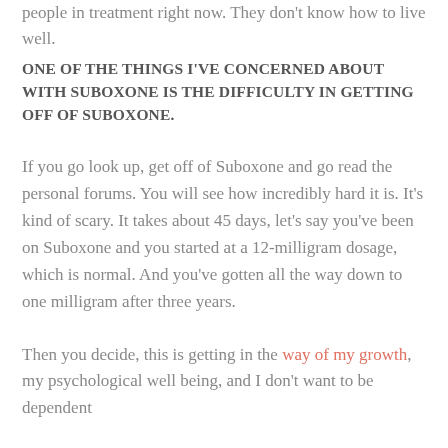people in treatment right now. They don't know how to live well.
ONE OF THE THINGS I'VE CONCERNED ABOUT WITH SUBOXONE IS THE DIFFICULTY IN GETTING OFF OF SUBOXONE.
If you go look up, get off of Suboxone and go read the personal forums. You will see how incredibly hard it is. It's kind of scary. It takes about 45 days, let's say you've been on Suboxone and you started at a 12-milligram dosage, which is normal. And you've gotten all the way down to one milligram after three years.
Then you decide, this is getting in the way of my growth, my psychological well being, and I don't want to be dependent